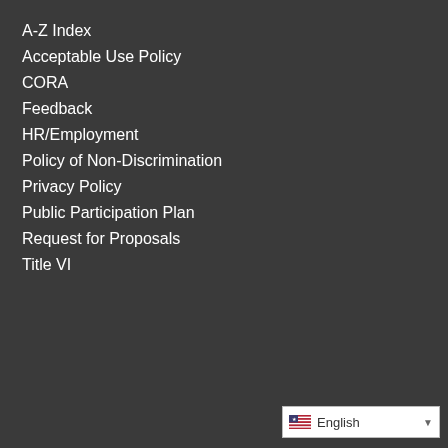A-Z Index
Acceptable Use Policy
CORA
Feedback
HR/Employment
Policy of Non-Discrimination
Privacy Policy
Public Participation Plan
Request for Proposals
Title VI
[Figure (logo): Best Workplaces 2020 award badge from The Gazette, with gold medal emblem on left and dark navy ribbon banner with 'The Gazette' text on right. Bottom shows partial text 'WE WON!' in dark blue.]
English